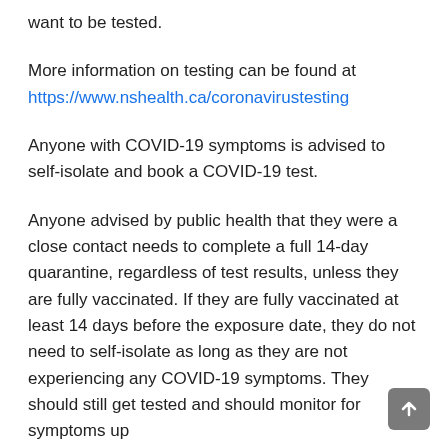want to be tested.
More information on testing can be found at https://www.nshealth.ca/coronavirustesting
Anyone with COVID-19 symptoms is advised to self-isolate and book a COVID-19 test.
Anyone advised by public health that they were a close contact needs to complete a full 14-day quarantine, regardless of test results, unless they are fully vaccinated. If they are fully vaccinated at least 14 days before the exposure date, they do not need to self-isolate as long as they are not experiencing any COVID-19 symptoms. They should still get tested and should monitor for symptoms up